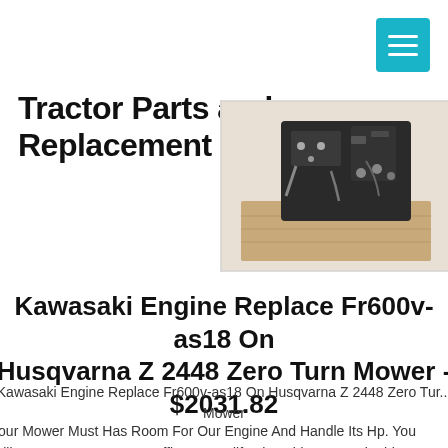Tractor Parts and Replacement
[Figure (photo): Close-up photo of a Kawasaki engine component, showing engine parts with bolts and metal components on a wooden surface]
Kawasaki Engine Replace Fr600v-as18 On Husqvarna Z 2448 Zero Turn Mower - $2031.82
Kawasaki Engine Replace Fr600v-as18 On Husqvarna Z 2448 Zero Turn Mower
Your Mower Must Has Room For Our Engine And Handle Its Hp. You Will Have To Buy A New Muffler Or Modify The Old One To Fit This Engine Safely Because The Old Fh Series Kawasaki Engine Muffler W